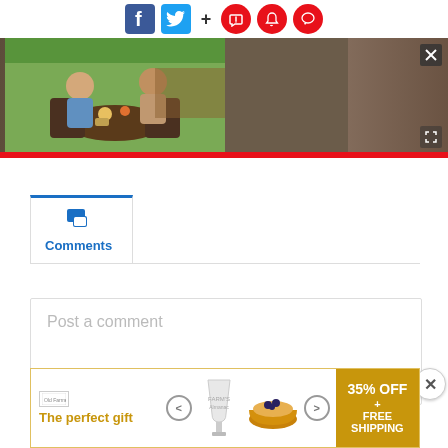[Figure (screenshot): Social sharing icons bar with Facebook, Twitter, plus sign, and three red circular icons (bookmark, bell, comment)]
[Figure (photo): Video player screenshot showing two people sitting at an outdoor table eating, with blurred sides and a red progress bar at the bottom]
Comments
Post a comment
[Figure (screenshot): Advertisement banner for The perfect gift with 35% OFF + FREE SHIPPING]